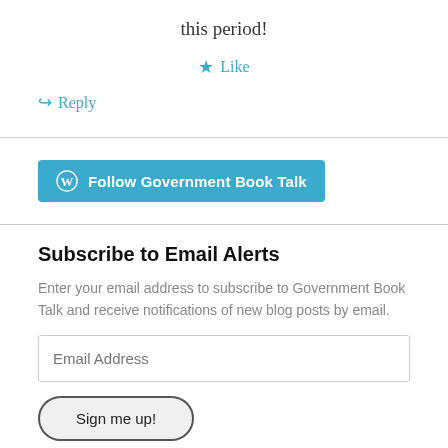this period!
★ Like
↪ Reply
[Figure (other): Follow Government Book Talk button with WordPress logo]
Subscribe to Email Alerts
Enter your email address to subscribe to Government Book Talk and receive notifications of new blog posts by email.
Email Address
Sign me up!